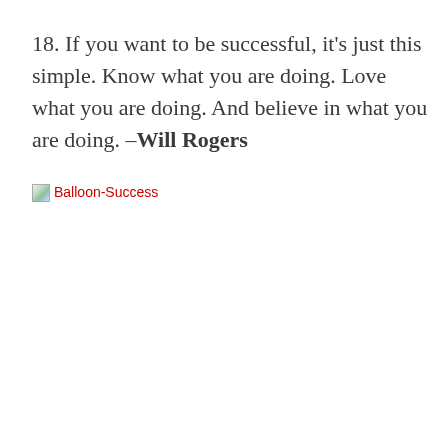18. If you want to be successful, it's just this simple. Know what you are doing. Love what you are doing. And believe in what you are doing. –Will Rogers
[Figure (illustration): Broken image placeholder labeled 'Balloon-Success' shown in red text with a small broken image icon]